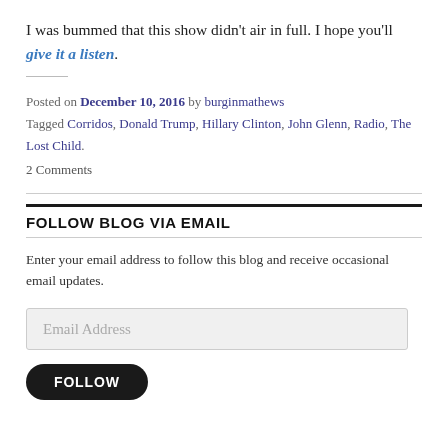I was bummed that this show didn't air in full. I hope you'll give it a listen.
Posted on December 10, 2016 by burginmathews
Tagged Corridos, Donald Trump, Hillary Clinton, John Glenn, Radio, The Lost Child.
2 Comments
FOLLOW BLOG VIA EMAIL
Enter your email address to follow this blog and receive occasional email updates.
Email Address
FOLLOW